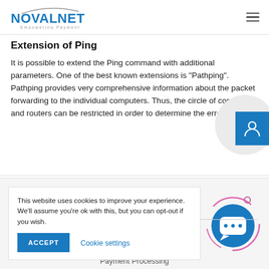[Figure (logo): Novalnet logo with arc graphic and tagline 'Empowering Payment']
Extension of Ping
It is possible to extend the Ping command with additional parameters. One of the best known extensions is "Pathping". Pathping provides very comprehensive information about the packet forwarding to the individual computers. Thus, the circle of computers and routers can be restricted in order to determine the errors.
This website uses cookies to improve your experience. We'll assume you're ok with this, but you can opt-out if you wish.
ACCEPT
Cookie settings
Payment Processing